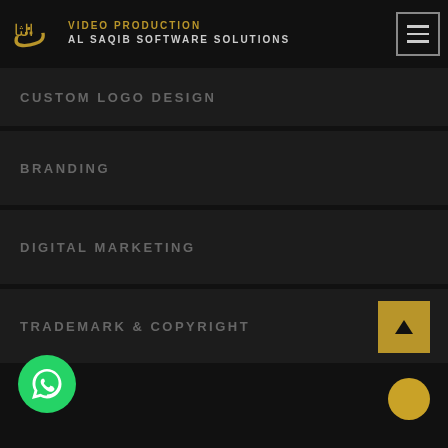VIDEO PRODUCTION | AL SAQIB SOFTWARE SOLUTIONS
CUSTOM LOGO DESIGN
BRANDING
DIGITAL MARKETING
TRADEMARK & COPYRIGHT